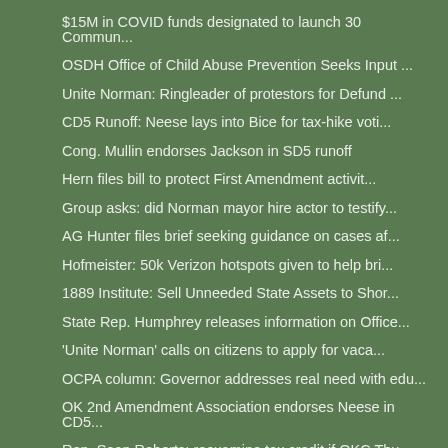$15M in COVID funds designated to launch 30 Commun...
OSDH Office of Child Abuse Prevention Seeks Input ...
Unite Norman: Ringleader of protestors for Defund ...
CD5 Runoff: Neese lays into Bice for tax-hike voti...
Cong. Mullin endorses Jackson in SD5 runoff
Hern files bill to protect First Amendment activit...
Group asks: did Norman mayor hire actor to testify...
AG Hunter files brief seeking guidance on cases af...
Hofmeister: 50k Verizon hotspots given to help bri...
1889 Institute: Sell Unneeded State Assets to Shor...
State Rep. Humphrey releases information on Office...
'Unite Norman' calls on citizens to apply for vaca...
OCPA column: Governor addresses real need with edu...
OK 2nd Amendment Association endorses Neese in CD5...
Rep. Sean Roberts: reexamine tax credit if OKC Thu...
July (56)